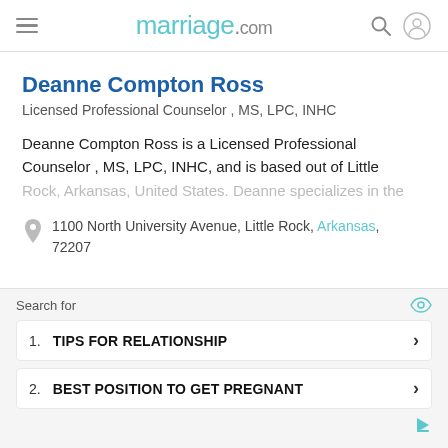marriage.com
Deanne Compton Ross
Licensed Professional Counselor , MS, LPC, INHC
Deanne Compton Ross is a Licensed Professional Counselor , MS, LPC, INHC, and is based out of Little Rock, Arkansas, United States. Deanne specializes in the
1100 North University Avenue, Little Rock, Arkansas, 72207
Search for
1. TIPS FOR RELATIONSHIP
2. BEST POSITION TO GET PREGNANT